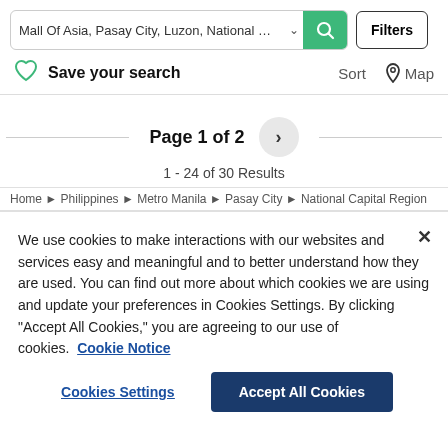Mall Of Asia, Pasay City, Luzon, National Capital R  Filters
Save your search    Sort  Map
Page 1 of 2
1 - 24 of 30 Results
Home ▶ Philippines ▶ Metro Manila ▶ Pasay City ▶ National Capital Region
We use cookies to make interactions with our websites and services easy and meaningful and to better understand how they are used. You can find out more about which cookies we are using and update your preferences in Cookies Settings. By clicking "Accept All Cookies," you are agreeing to our use of cookies.  Cookie Notice
Cookies Settings    Accept All Cookies